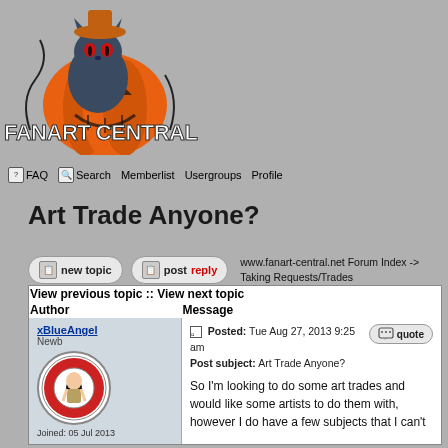[Figure (logo): Fanart Central logo with Halloween cat in pumpkin illustration and 'FANART CENTRAL' text]
FAQ  Search  Memberlist  Usergroups  Profile  Log in to check your private messages  Log in
Art Trade Anyone?
www.fanart-central.net Forum Index -> Taking Requests/Trades
| Author | Message |
| --- | --- |
| xBlueAngel
Newb
[avatar]
Joined: 05 Jul 2013 | Posted: Tue Aug 27, 2013 9:25 am
Post subject: Art Trade Anyone?

So I'm looking to do some art trades and would like some artists to do them with, however I do have a few subjects that I can't |